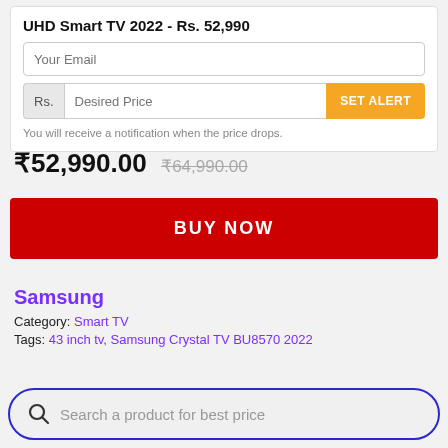UHD Smart TV 2022 - Rs. 52,990
Your Email
Rs. | Desired Price | SET ALERT
You will receive a notification when the price drops.
₹52,990.00  ₹64,990.00
BUY NOW
Samsung
Category: Smart TV
Tags: 43 inch tv, Samsung Crystal TV BU8570 2022
Search a product for best price